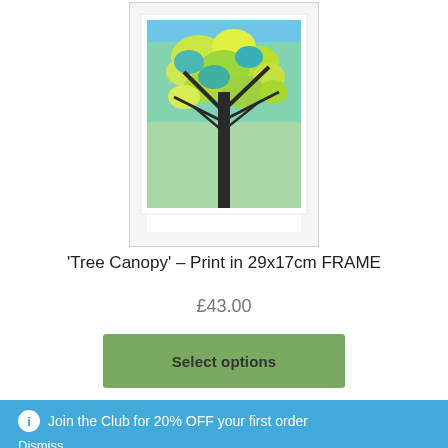[Figure (photo): Framed art print of 'Tree Canopy' showing a colourful tree with green, yellow and blue foliage in a white frame, partially cropped at top]
'Tree Canopy' – Print in 29x17cm FRAME
£43.00
Select options
Join the Club for 20% OFF your first order
Dismiss